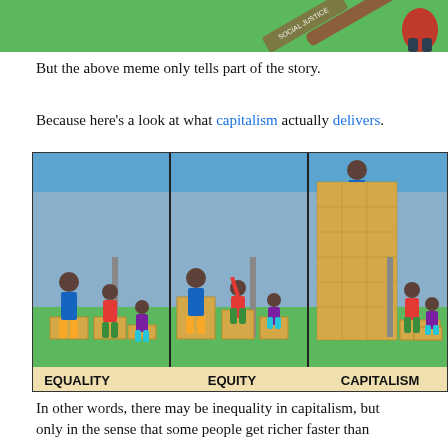[Figure (illustration): Top portion of a meme image showing a cartoon figure and a stick/bat on a green background, partially cropped]
But the above meme only tells part of the story.
Because here's a look at what capitalism actually delivers.
[Figure (illustration): Three-panel illustration comparing EQUALITY (three people on equal-sized boxes looking over a fence), EQUITY (boxes distributed by height need), and CAPITALISM (tall tower of boxes for the wealthy person, smaller stacks for others, labeled accordingly at the bottom)]
In other words, there may be inequality in capitalism, but only in the sense that some people get richer faster than